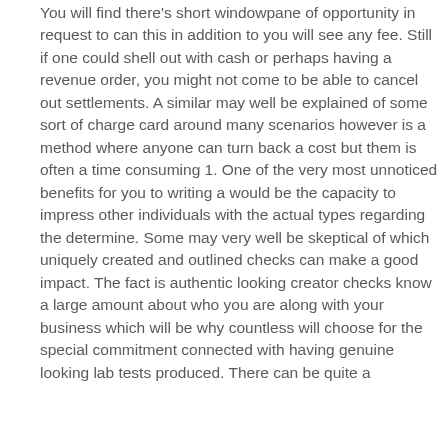You will find there's short windowpane of opportunity in request to can this in addition to you will see any fee. Still if one could shell out with cash or perhaps having a revenue order, you might not come to be able to cancel out settlements. A similar may well be explained of some sort of charge card around many scenarios however is a method where anyone can turn back a cost but them is often a time consuming 1. One of the very most unnoticed benefits for you to writing a would be the capacity to impress other individuals with the actual types regarding the determine. Some may very well be skeptical of which uniquely created and outlined checks can make a good impact. The fact is authentic looking creator checks know a large amount about who you are along with your business which will be why countless will choose for the special commitment connected with having genuine looking lab tests produced. There can be quite a